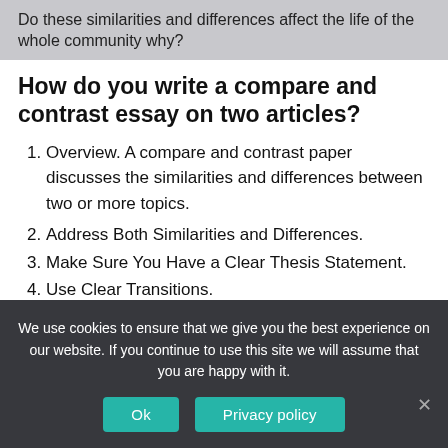Do these similarities and differences affect the life of the whole community why?
How do you write a compare and contrast essay on two articles?
Overview. A compare and contrast paper discusses the similarities and differences between two or more topics.
Address Both Similarities and Differences.
Make Sure You Have a Clear Thesis Statement.
Use Clear Transitions.
Structure Your Paper.
We use cookies to ensure that we give you the best experience on our website. If you continue to use this site we will assume that you are happy with it.